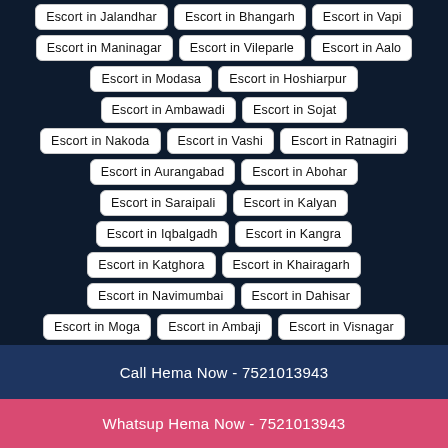Escort in Jalandhar
Escort in Bhangarh
Escort in Vapi
Escort in Maninagar
Escort in Vileparle
Escort in Aalo
Escort in Modasa
Escort in Hoshiarpur
Escort in Ambawadi
Escort in Sojat
Escort in Nakoda
Escort in Vashi
Escort in Ratnagiri
Escort in Aurangabad
Escort in Abohar
Escort in Saraipali
Escort in Kalyan
Escort in Iqbalgadh
Escort in Kangra
Escort in Katghora
Escort in Khairagarh
Escort in Navimumbai
Escort in Dahisar
Escort in Moga
Escort in Ambaji
Escort in Visnagar
Escort in Jashpurnagar
Escort in Tartoli
Escort in Aligarh
Escort in Madh
Escort in Malerkotla
Call Hema Now - 7521013943
Whatsup Hema Now - 7521013943